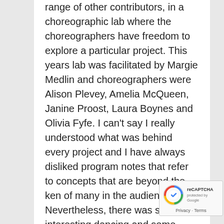range of other contributors, in a choreographic lab where the choreographers have freedom to explore a particular project. This years lab was facilitated by Margie Medlin and choreographers were Alison Plevey, Amelia McQueen, Janine Proost, Laura Boynes and Olivia Fyfe. I can't say I really understood what was behind every project and I have always disliked program notes that refer to concepts that are beyond the ken of many in the audience. Nevertheless, there was some interesting dancing and some quite stunning dance photography by Lorna Sim.
[Figure (other): reCAPTCHA badge widget with Privacy and Terms links]